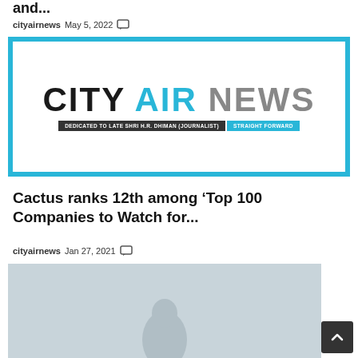and...
cityairnews   May 5, 2022
[Figure (logo): City Air News logo with tagline: DEDICATED TO LATE SHRI H.R. DHIMAN (JOURNALIST) | STRAIGHT FORWARD]
Cactus ranks 12th among ‘Top 100 Companies to Watch for...
cityairnews   Jan 27, 2021
[Figure (photo): Partial thumbnail image of a person, gray background, bottom cut off]